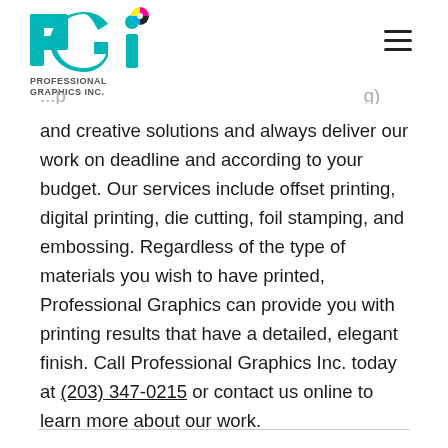[Figure (logo): PGi Professional Graphics Inc. logo with teal P, G, i letters and a CMYK color wheel dot above the i]
and creative solutions and always deliver our work on deadline and according to your budget. Our services include offset printing, digital printing, die cutting, foil stamping, and embossing. Regardless of the type of materials you wish to have printed, Professional Graphics can provide you with printing results that have a detailed, elegant finish. Call Professional Graphics Inc. today at (203) 347-0215 or contact us online to learn more about our work.